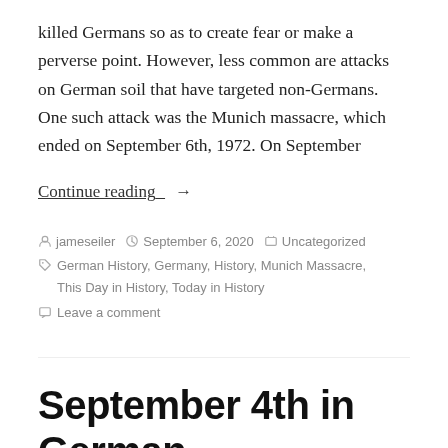killed Germans so as to create fear or make a perverse point. However, less common are attacks on German soil that have targeted non-Germans. One such attack was the Munich massacre, which ended on September 6th, 1972. On September
Continue reading_ →
jameseiler  September 6, 2020  Uncategorized  German History, Germany, History, Munich Massacre, This Day in History, Today in History  Leave a comment
September 4th in German